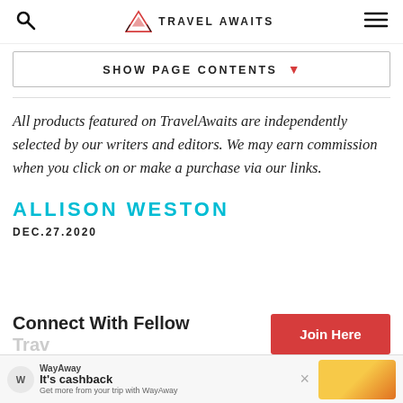TRAVEL AWAITS
SHOW PAGE CONTENTS
All products featured on TravelAwaits are independently selected by our writers and editors. We may earn commission when you click on or make a purchase via our links.
ALLISON WESTON
DEC.27.2020
Connect With Fellow Trav...
Join Here
WayAway It's cashback Get more from your trip with WayAway